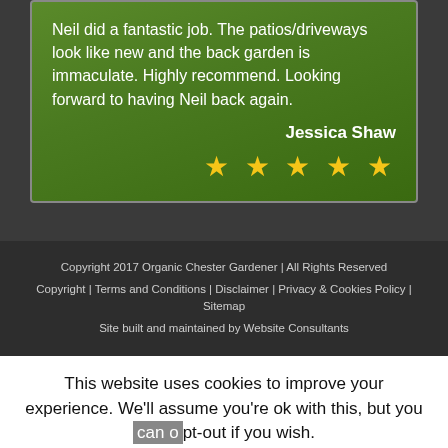Neil did a fantastic job. The patios/driveways look like new and the back garden is immaculate. Highly recommend. Looking forward to having Neil back again.

Jessica Shaw
★★★★★
Copyright 2017 Organic Chester Gardener | All Rights Reserved Copyright | Terms and Conditions | Disclaimer | Privacy & Cookies Policy | Sitemap
Site built and maintained by Website Consultants
This website uses cookies to improve your experience. We'll assume you're ok with this, but you can opt-out if you wish. Accept Decline Read More